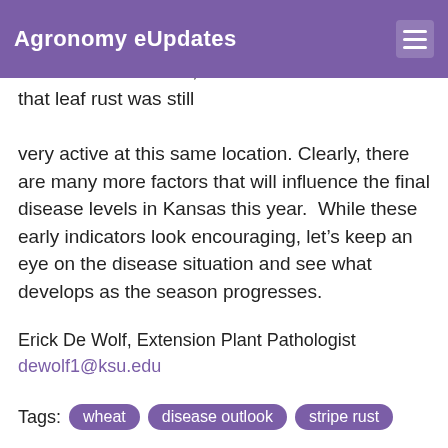Agronomy eUpdates
University, noted that only low levels of stripe rust were reported in southern Oklahoma so far in 2020. However, Dr. Ibrahim did note that leaf rust was still very active at this same location. Clearly, there are many more factors that will influence the final disease levels in Kansas this year.  While these early indicators look encouraging, let’s keep an eye on the disease situation and see what develops as the season progresses.
Erick De Wolf, Extension Plant Pathologist
dewolf1@ksu.edu
Tags: wheat  disease outlook  stripe rust